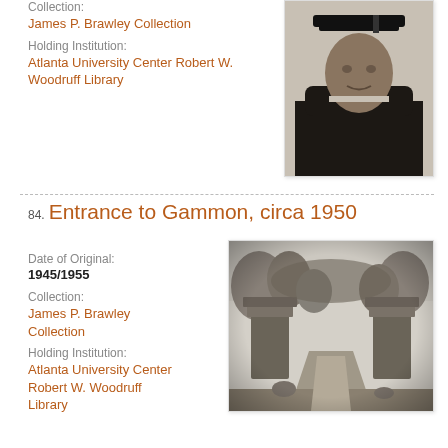Collection:
James P. Brawley Collection
Holding Institution:
Atlanta University Center Robert W. Woodruff Library
[Figure (photo): Black and white graduation portrait photo of a person wearing academic cap and gown]
84. Entrance to Gammon, circa 1950
Date of Original:
1945/1955
Collection:
James P. Brawley Collection
Holding Institution:
Atlanta University Center Robert W. Woodruff Library
[Figure (photo): Black and white photograph of an entrance gate to Gammon, circa 1950, showing stone pillars and a tree-lined path]